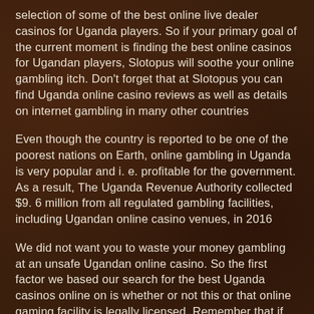selection of some of the best online live dealer casinos for Uganda players. So if your primary goal of the current moment is finding the best online casinos for Ugandan players, Slotopus will soothe your online gambling itch. Don't forget that at Slotopus you can find Uganda online casino reviews as well as details on internet gambling in many other countries
Even though the country is reported to be one of the poorest nations on Earth, online gambling in Uganda is very popular and i. e. profitable for the government. As a result, The Uganda Revenue Authority collected $9. 6 million from all regulated gambling facilities, including Ugandan online casino venues, in 2016
We did not want you to waste your money gambling at an unsafe Ugandan online casino. So the first factor we based our search for the best Uganda casinos online on is whether or not this or that online gaming facility is legally licensed. Remember that if the Uganda online casino has no legal license obtained from authorities, it is operating outside the country's legal framework. Here at Slotopus, we allow only 100% legal and licensed Uganda